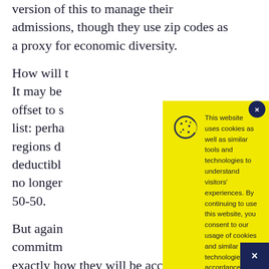version of this to manage their admissions, though they use zip codes as a proxy for economic diversity.
How will t[he admissions process change?] It may be [possible for some of the cost to] offset to s[omething like an early decision] list: perha[ps students from lower-income] regions d[o not have to pay as high a] deductibl[e, or the early decision penalty is] no longer [as severe, making the odds closer to] 50-50.
But again[, these are goals and] commitm[ents — it remains to be seen] exactly how they will be accomplished.
[Figure (other): Cookie consent banner with yellow background. Contains a cookie icon, text reading 'This website uses cookies as well as similar tools and technologies to understand visitors' experiences. By continuing to use this website, you consent to our usage of cookies and similar technologies, in accordance with our Cookie and Privacy Policy.' An 'Accept' button in dark navy blue with yellow text is shown at the bottom. A dark navy close button (x) appears in the top right corner.]